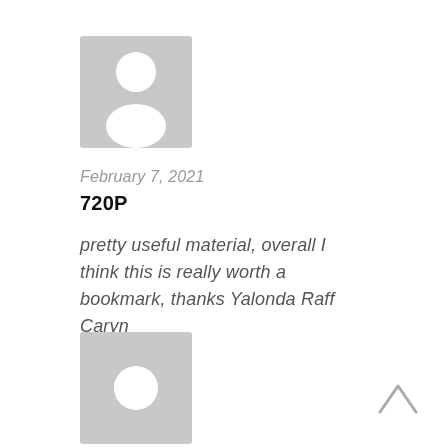[Figure (illustration): Generic user avatar placeholder: grey square with white person silhouette (head circle and shoulders)]
February 7, 2021
720P
pretty useful material, overall I think this is really worth a bookmark, thanks Yalonda Raff Caryn
[Figure (illustration): Generic user avatar placeholder: grey square with white circle (head only visible)]